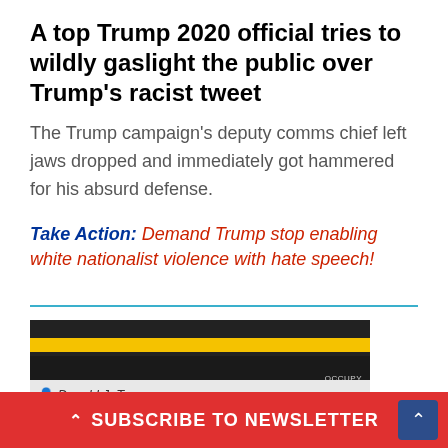A top Trump 2020 official tries to wildly gaslight the public over Trump’s racist tweet
The Trump campaign’s deputy comms chief left jaws dropped and immediately got hammered for his absurd defense.
Take Action: Demand Trump stop enabling white nationalist violence with hate speech!
[Figure (photo): Partial photo of what appears to be a name badge or credential with 'Donald J. Trump' text, dark background with yellow stripe, Occupy Democrats watermark visible]
SUBSCRIBE TO NEWSLETTER